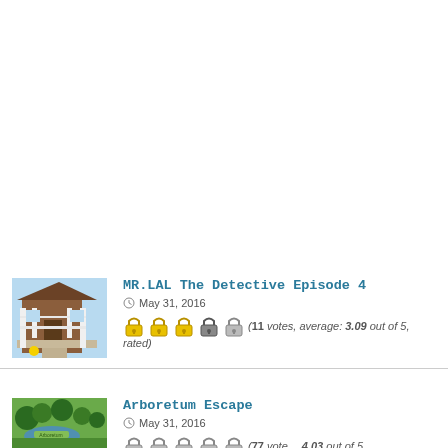[Figure (photo): Thumbnail of a house porch with white railings and a yellow ball]
MR.LAL The Detective Episode 4
May 31, 2016
(11 votes, average: 3.09 out of 5, rated)
[Figure (photo): Thumbnail of a garden with green plants and a pond - Arboretum Escape]
Arboretum Escape
May 31, 2016
(77 votes, average: 4.03 out of 5, rated)